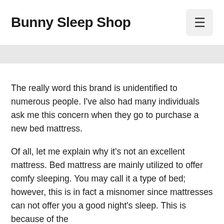Bunny Sleep Shop
The really word this brand is unidentified to numerous people. I’ve also had many individuals ask me this concern when they go to purchase a new bed mattress.
Of all, let me explain why it’s not an excellent mattress. Bed mattress are mainly utilized to offer comfy sleeping. You may call it a type of bed; however, this is in fact a misnomer since mattresses can not offer you a good night’s sleep. This is because of the